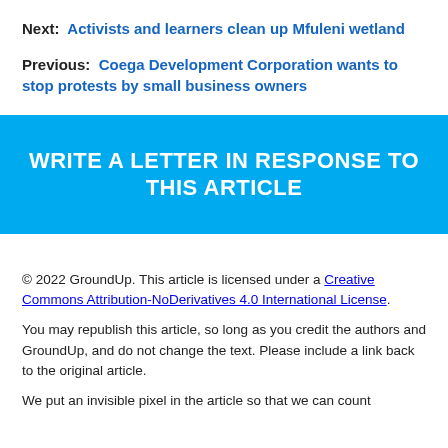Next:  Activists and learners clean up Mfuleni wetland
Previous:  Coega Development Corporation wants to stop protests by small business owners
[Figure (other): Call-to-action button: WRITE A LETTER IN RESPONSE TO THIS ARTICLE on cyan background]
© 2022 GroundUp. This article is licensed under a Creative Commons Attribution-NoDerivatives 4.0 International License.
You may republish this article, so long as you credit the authors and GroundUp, and do not change the text. Please include a link back to the original article.
We put an invisible pixel in the article so that we can count